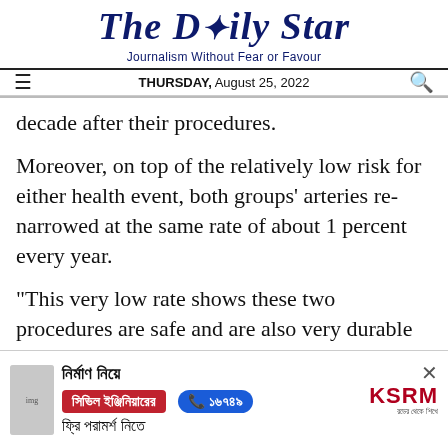The Daily Star — Journalism Without Fear or Favour — THURSDAY, August 25, 2022
decade after their procedures.
Moreover, on top of the relatively low risk for either health event, both groups' arteries re-narrowed at the same rate of about 1 percent every year.
"This very low rate shows these two procedures are safe and are also very durable in preventing stroke," Brott also said, adding that "Because
[Figure (advertisement): Advertisement banner in Bengali for KSRM civil engineering consultation service with phone number 16749]